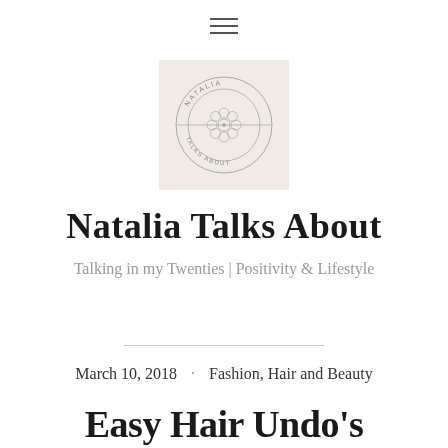[Figure (logo): Natalia Talks About blog logo — circular emblem with decorative mandala/flower center, text 'NATALIA' arching above and 'TALKS ABOUT' below, on a beige/cream square background]
Natalia Talks About
Talking in my Twenties | Positivity & Lifestyle
March 10, 2018 · Fashion, Hair and Beauty
Easy Hair Undo's